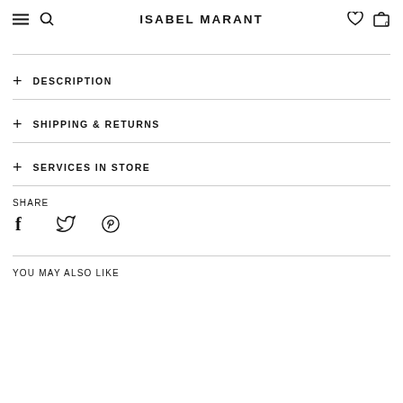ISABEL MARANT
+ DESCRIPTION
+ SHIPPING & RETURNS
+ SERVICES IN STORE
SHARE
YOU MAY ALSO LIKE